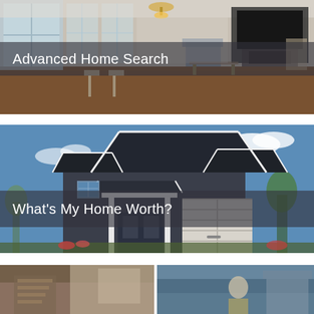[Figure (photo): Interior photo of a bright living/dining room with wooden floors, white cabinetry, pendant chandelier, and fireplace with mounted TV. Semi-transparent dark overlay band across middle reads 'Advanced Home Search' in white.]
[Figure (photo): Exterior photo of a large dark-gray/blue two-story suburban home with white trim, garage, and blue sky background. Semi-transparent dark overlay band across middle reads 'What\'s My Home Worth?' in white.]
[Figure (photo): Partial view of a third image at the bottom of the page, appearing to show an interior and exterior scene side by side.]